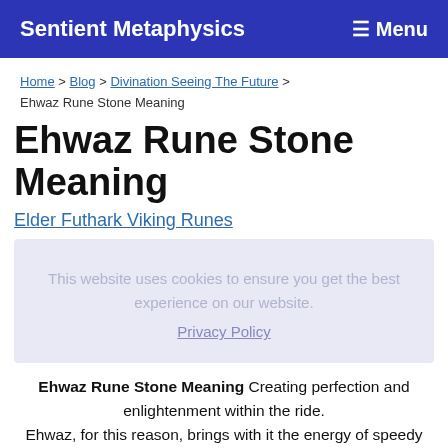Sentient Metaphysics   ≡ Menu
Home > Blog > Divination Seeing The Future >
Ehwaz Rune Stone Meaning
Ehwaz Rune Stone Meaning
Elder Futhark Viking Runes
This website uses cookies to ensure you get the best experience on our website. Privacy Policy
Ehwaz Rune Stone Meaning Creating perfection and enlightenment within the ride. Ehwaz, for this reason, brings with it the energy of speedy movement.